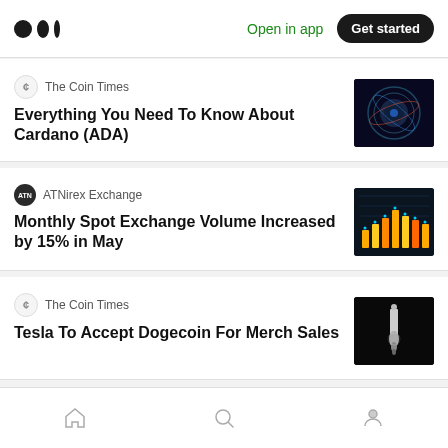Medium app header with logo, 'Open in app', and 'Get started' button
The Coin Times
Everything You Need To Know About Cardano (ADA)
[Figure (photo): Colorful spherical coin-like object against dark background]
ATNirex Exchange
Monthly Spot Exchange Volume Increased by 15% in May
[Figure (photo): Bar chart visualization with colorful bars on dark background]
The Coin Times
Tesla To Accept Dogecoin For Merch Sales
[Figure (photo): Tesla charging connector against dark background]
Navigation bar with home, search, and profile icons